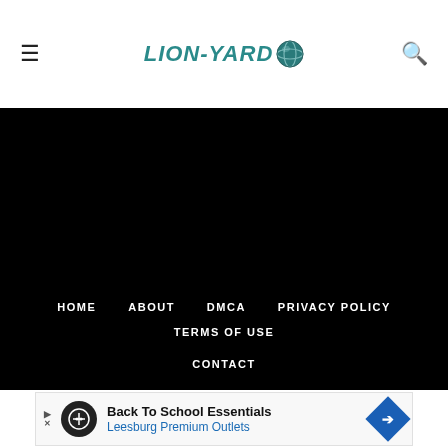LION-YARD
[Figure (screenshot): Black footer section of a website with navigation links: HOME, ABOUT, DMCA, PRIVACY POLICY, TERMS OF USE, CONTACT, and 'Powered by Media Senpai' text]
[Figure (screenshot): Advertisement banner: Back To School Essentials - Leesburg Premium Outlets]